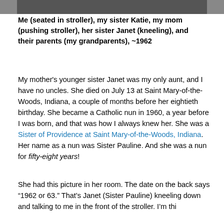[Figure (photo): Top portion of a black and white photograph showing a group of people, cropped at the bottom of the image strip.]
Me (seated in stroller), my sister Katie, my mom (pushing stroller), her sister Janet (kneeling), and their parents (my grandparents), ~1962
My mother's younger sister Janet was my only aunt, and I have no uncles. She died on July 13 at Saint Mary-of-the-Woods, Indiana, a couple of months before her eightieth birthday. She became a Catholic nun in 1960, a year before I was born, and that was how I always knew her. She was a Sister of Providence at Saint Mary-of-the-Woods, Indiana. Her name as a nun was Sister Pauline. And she was a nun for fifty-eight years!
She had this picture in her room. The date on the back says “1962 or 63.” That’s Janet (Sister Pauline) kneeling down and talking to me in the front of the stroller. I’m thinking this was 1963. My older sister Katie is standing...